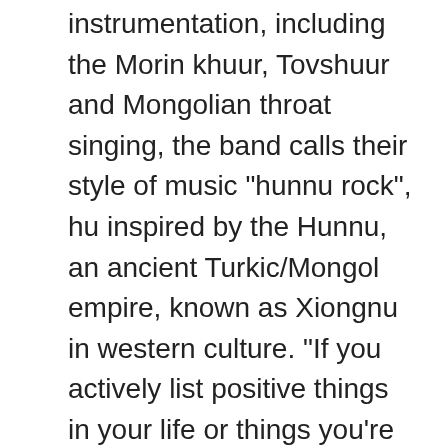instrumentation, including the Morin khuur, Tovshuur and Mongolian throat singing, the band calls their style of music "hunnu rock", hu inspired by the Hunnu, an ancient Turkic/Mongol empire, known as Xiongnu in western culture. "If you actively list positive things in your life or things you're grateful for, especially when you're going through something negative, you'll start noticing other positive things", says Sparks. Nyelv / Language. Where Were You Stars are dropping from the sky. Menü. TV Shows. “Eight years ago, we felt there was a need for delicious food that could change how you ... Learn More . Magyar English. Search the world's information, including webpages, images, videos and more.